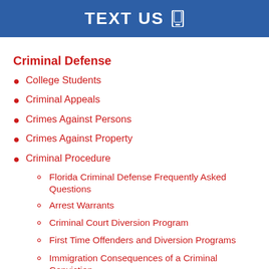TEXT US
Criminal Defense
College Students
Criminal Appeals
Crimes Against Persons
Crimes Against Property
Criminal Procedure
Florida Criminal Defense Frequently Asked Questions
Arrest Warrants
Criminal Court Diversion Program
First Time Offenders and Diversion Programs
Immigration Consequences of a Criminal Conviction